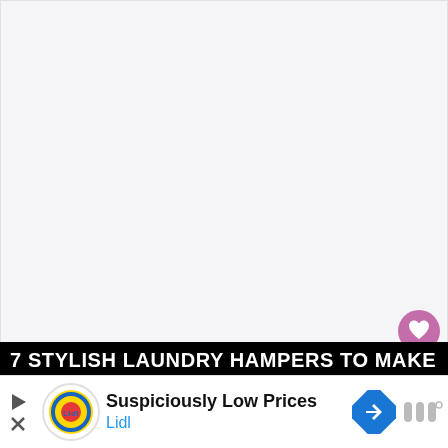[Figure (photo): Large light gray placeholder image area for a photo of stylish laundry hampers]
[Figure (other): Pink/purple circular FAB button with white heart icon]
[Figure (other): White circular FAB button with share/network icon and plus sign]
7 Stylish Laundry Hampers to Make
[Figure (other): Advertisement banner: Lidl logo with text 'Suspiciously Low Prices' and 'Lidl', with a blue diamond navigation arrow icon and Millometre logo on right]
Suspiciously Low Prices
Lidl